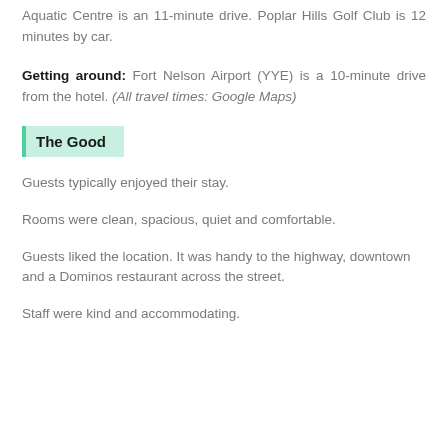Aquatic Centre is an 11-minute drive. Poplar Hills Golf Club is 12 minutes by car.
Getting around: Fort Nelson Airport (YYE) is a 10-minute drive from the hotel. (All travel times: Google Maps)
The Good
Guests typically enjoyed their stay.
Rooms were clean, spacious, quiet and comfortable.
Guests liked the location. It was handy to the highway, downtown and a Dominos restaurant across the street.
Staff were kind and accommodating.